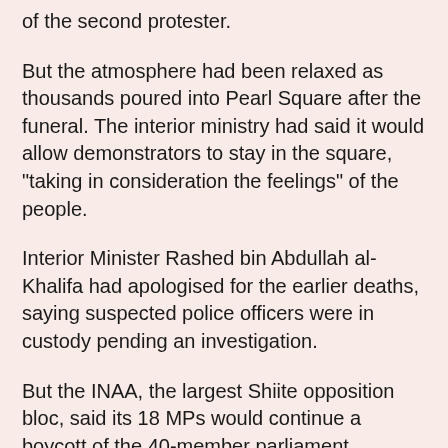of the second protester.
But the atmosphere had been relaxed as thousands poured into Pearl Square after the funeral. The interior ministry had said it would allow demonstrators to stay in the square, "taking in consideration the feelings" of the people.
Interior Minister Rashed bin Abdullah al-Khalifa had apologised for the earlier deaths, saying suspected police officers were in custody pending an investigation.
But the INAA, the largest Shiite opposition bloc, said its 18 MPs would continue a boycott of the 40-member parliament launched Tuesday until steps were taken to establish a real constitutional monarchy.
They called for a prime minister elected by the people, not appointed by the king.
Before the latest clashes, the White House said Wednesday it was watching the developments "very closely" and called on Bahrain's rulers to allow peaceful anti-government